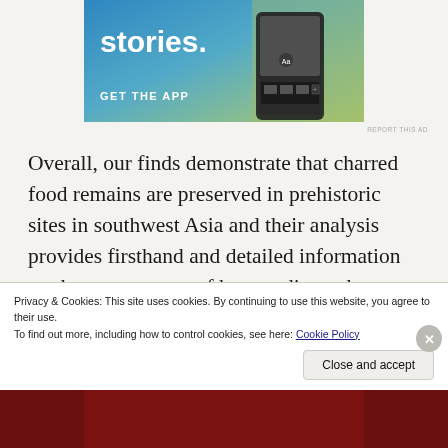[Figure (illustration): App advertisement banner with gradient blue-green background showing 'stories.' text, 'GET THE APP' call to action, and a phone mockup image with a person in a yellow jacket]
REPORT THIS AD
Overall, our finds demonstrate that charred food remains are preserved in prehistoric sites in southwest Asia and their analysis provides firsthand and detailed information on the components of human diet and cooking technology very difficult to achieve by other means. The addition of these lines of evidence will enable a more critical and holistic
Privacy & Cookies: This site uses cookies. By continuing to use this website, you agree to their use.
To find out more, including how to control cookies, see here: Cookie Policy
Close and accept